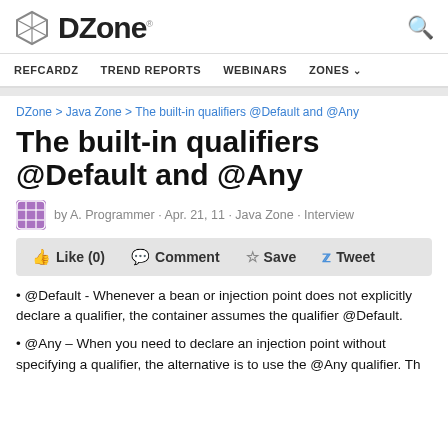DZone.
REFCARDZ   TREND REPORTS   WEBINARS   ZONES
DZone > Java Zone > The built-in qualifiers @Default and @Any
The built-in qualifiers @Default and @Any
by A. Programmer · Apr. 21, 11 · Java Zone · Interview
Like (0)   Comment   Save   Tweet
• @Default - Whenever a bean or injection point does not explicitly declare a qualifier, the container assumes the qualifier @Default.
• @Any – When you need to declare an injection point without specifying a qualifier, the alternative is to use the @Any qualifier. Th...